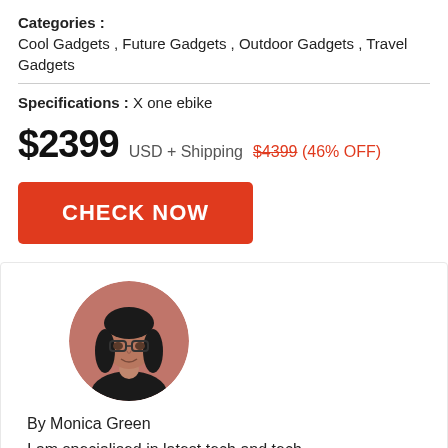Categories : Cool Gadgets , Future Gadgets , Outdoor Gadgets , Travel Gadgets
Specifications : X one ebike
$2399 USD + Shipping $4399 (46% OFF)
CHECK NOW
[Figure (photo): Circular profile photo of Monica Green, a woman with glasses and dark hair, against a pink/rose background]
By Monica Green
I am specialised in latest tech and tech